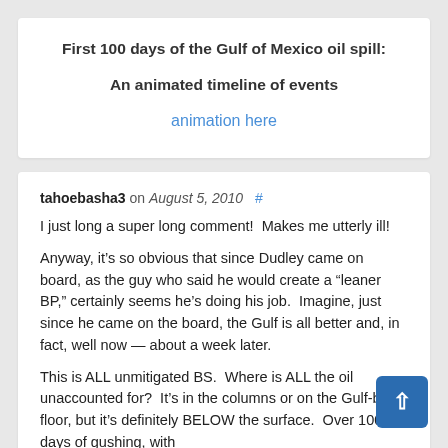First 100 days of the Gulf of Mexico oil spill:
An animated timeline of events
animation here
tahoebasha3 on August 5, 2010  #
I just long a super long comment!  Makes me utterly ill!
Anyway, it’s so obvious that since Dudley came on board, as the guy who said he would create a “leaner BP,” certainly seems he’s doing his job.  Imagine, just since he came on the board, the Gulf is all better and, in fact, well now — about a week later.
This is ALL unmitigated BS.  Where is ALL the oil unaccounted for?  It’s in the columns or on the Gulf-bed’s floor, but it’s definitely BELOW the surface.  Over 100 days of gushing, with